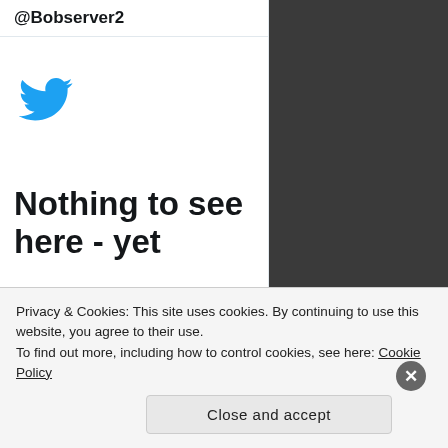@Bobserver2
[Figure (logo): Twitter blue bird logo icon]
Nothing to see here - yet
When they Tweet, their Tweets will show up
Privacy & Cookies: This site uses cookies. By continuing to use this website, you agree to their use. To find out more, including how to control cookies, see here: Cookie Policy
Close and accept